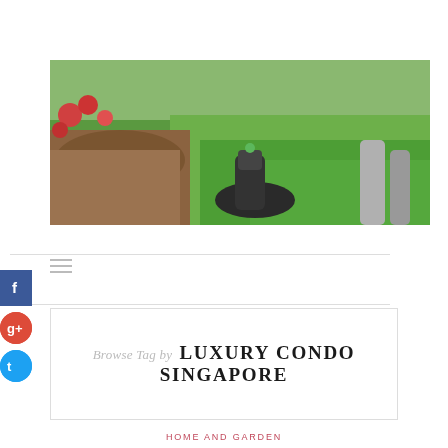[Figure (photo): Close-up photo of a grass trimmer/edger in use on a garden lawn, with red flowers and wooden border visible on the left side]
Browse Tag by  LUXURY CONDO SINGAPORE
HOME AND GARDEN